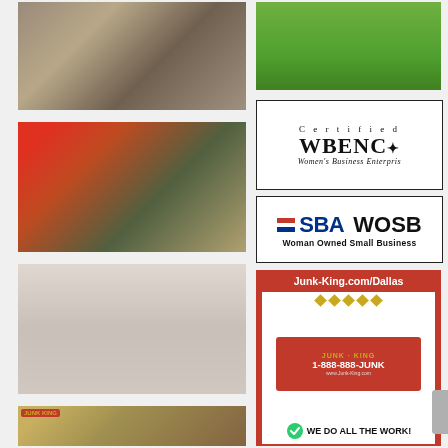[Figure (photo): Pile of junk and debris inside a building, including white bags, boxes, and miscellaneous items]
[Figure (photo): Playground swing set with green slide on green lawn]
[Figure (photo): Junk King worker in red shirt loading items onto a red truck]
[Figure (logo): Certified WBENC Women's Business Enterprise certification logo]
[Figure (logo): SBA WOSB Woman Owned Small Business certification logo]
[Figure (photo): Empty cleared garage space, clean concrete floor]
[Figure (infographic): Junk King advertisement: Junk-King.com/Dallas, 1-888-888-JUNK, WE DO ALL THE WORK!]
[Figure (photo): Junk King branded photo showing wood debris and fence removal]